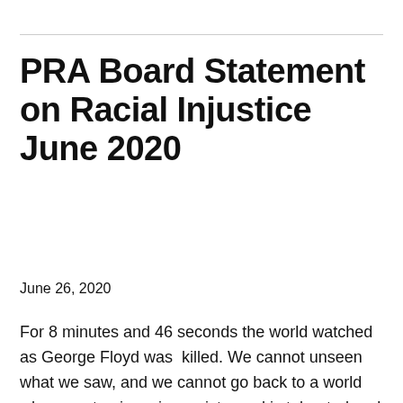PRA Board Statement on Racial Injustice June 2020
June 26, 2020
For 8 minutes and 46 seconds the world watched as George Floyd was  killed. We cannot unseen what we saw, and we cannot go back to a world where systemic racism exists; and is tolerated and ignored.